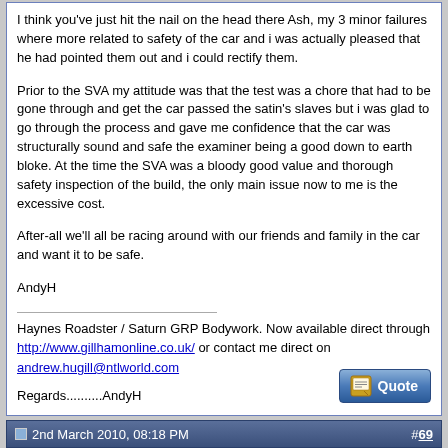I think you've just hit the nail on the head there Ash, my 3 minor failures where more related to safety of the car and i was actually pleased that he had pointed them out and i could rectify them.

Prior to the SVA my attitude was that the test was a chore that had to be gone through and get the car passed the satin's slaves but i was glad to go through the process and gave me confidence that the car was structurally sound and safe the examiner being a good down to earth bloke. At the time the SVA was a bloody good value and thorough safety inspection of the build, the only main issue now to me is the excessive cost.

After-all we'll all be racing around with our friends and family in the car and want it to be safe.

AndyH

Haynes Roadster / Saturn GRP Bodywork. Now available direct through http://www.gillhamonline.co.uk/ or contact me direct on andrew.hugill@ntlworld.com

Regards..........AndyH
2nd March 2010, 08:18 PM   #69